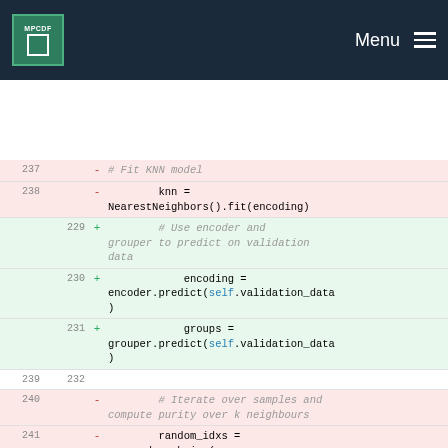MPCDF | Menu
[Figure (screenshot): A code diff view showing removed (red background) and added (green background) Python code lines. Removed lines (237-242) show KNN model fitting and iteration over samples. Added lines (229-231) show use of encoder and grouper to predict on validation data.]